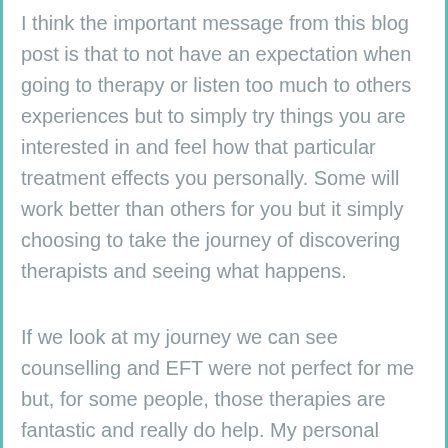I think the important message from this blog post is that to not have an expectation when going to therapy or listen too much to others experiences but to simply try things you are interested in and feel how that particular treatment effects you personally. Some will work better than others for you but it simply choosing to take the journey of discovering therapists and seeing what happens.
If we look at my journey we can see counselling and EFT were not perfect for me but, for some people, those therapies are fantastic and really do help. My personal belief is that it could be said that